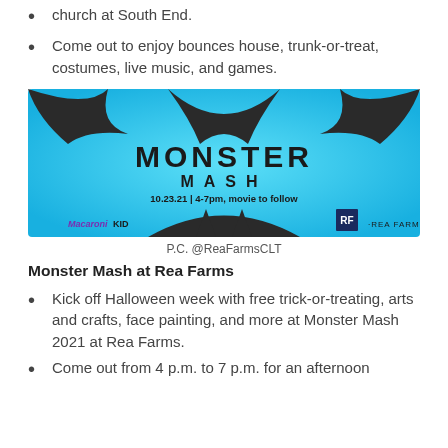church at South End.
Come out to enjoy bounces house, trunk-or-treat, costumes, live music, and games.
[Figure (illustration): Monster Mash event flyer with blue background, dark bat/monster silhouette, text reading MONSTER MASH 10.23.21 | 4-7pm, movie to follow, with Macaroni KID and REA FARMS logos]
P.C. @ReaFarmsCLT
Monster Mash at Rea Farms
Kick off Halloween week with free trick-or-treating, arts and crafts, face painting, and more at Monster Mash 2021 at Rea Farms.
Come out from 4 p.m. to 7 p.m. for an afternoon